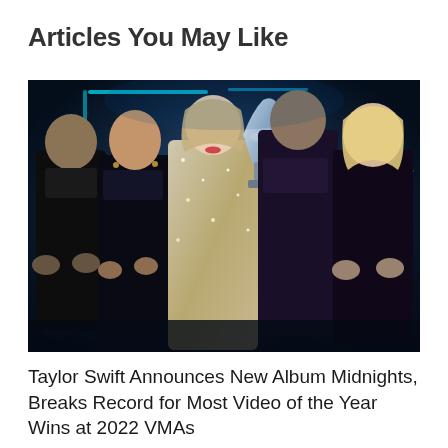Articles You May Like
[Figure (photo): Taylor Swift holding a VMA trophy on stage surrounded by friends and collaborators applauding, dark blue stage lighting with cyan accents in the background. Taylor Swift is wearing a sparkling silver outfit.]
Taylor Swift Announces New Album Midnights, Breaks Record for Most Video of the Year Wins at 2022 VMAs